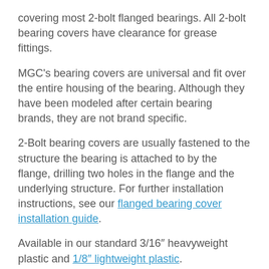covering most 2-bolt flanged bearings. All 2-bolt bearing covers have clearance for grease fittings.
MGC's bearing covers are universal and fit over the entire housing of the bearing. Although they have been modeled after certain bearing brands, they are not brand specific.
2-Bolt bearing covers are usually fastened to the structure the bearing is attached to by the flange, drilling two holes in the flange and the underlying structure. For further installation instructions, see our flanged bearing cover installation guide.
Available in our standard 3/16″ heavyweight plastic and 1/8″ lightweight plastic.
Note: Part of the flange can be trimmed if there are interference issues.